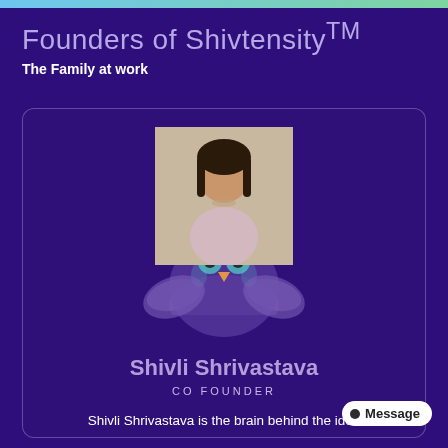Founders of Shivtensity™
The Family at work
[Figure (photo): Profile photo of Shivli Shrivastava, a young woman with dark hair wearing a light pink top]
Shivli Shrivastava
CO FOUNDER
Shivli Shrivastava is the brain behind the idea of Shivtensity. She is a Counselling Psychologist, Sexuality Educator and PhD